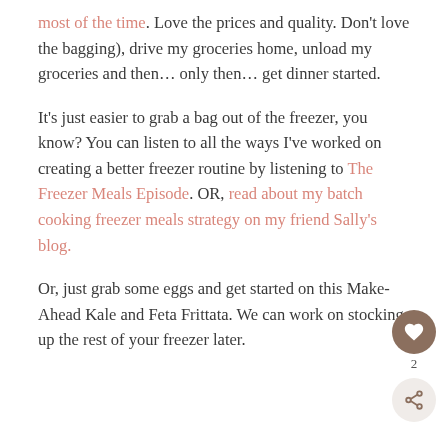most of the time. Love the prices and quality. Don't love the bagging), drive my groceries home, unload my groceries and then… only then… get dinner started.
It's just easier to grab a bag out of the freezer, you know? You can listen to all the ways I've worked on creating a better freezer routine by listening to The Freezer Meals Episode. OR, read about my batch cooking freezer meals strategy on my friend Sally's blog.
Or, just grab some eggs and get started on this Make-Ahead Kale and Feta Frittata. We can work on stocking up the rest of your freezer later.